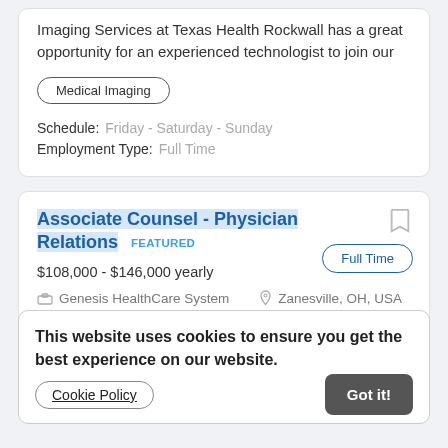Imaging Services at Texas Health Rockwall has a great opportunity for an experienced technologist to join our
Medical Imaging
Schedule: Friday - Saturday - Sunday
Employment Type: Full Time
Associate Counsel - Physician Relations FEATURED
$108,000 - $146,000 yearly
Genesis HealthCare System
Zanesville, OH, USA
2022 Fortune Magazine/Merative 100 Top Hospital Better
This website uses cookies to ensure you get the best experience on our website.
Cookie Policy
Got it!
Schedule: M-F day shift